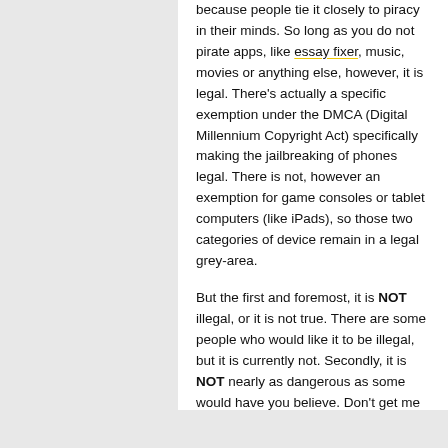because people tie it closely to piracy in their minds. So long as you do not pirate apps, like essay fixer, music, movies or anything else, however, it is legal. There's actually a specific exemption under the DMCA (Digital Millennium Copyright Act) specifically making the jailbreaking of phones legal. There is not, however an exemption for game consoles or tablet computers (like iPads), so those two categories of device remain in a legal grey-area.
But the first and foremost, it is NOT illegal, or it is not true. There are some people who would like it to be illegal, but it is currently not. Secondly, it is NOT nearly as dangerous as some would have you believe. Don't get me wrong, whenever you go into your phone and play around with system files, there is a chance to break something. But the guys who